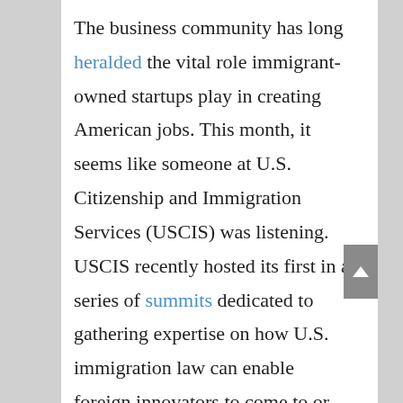The business community has long heralded the vital role immigrant-owned startups play in creating American jobs. This month, it seems like someone at U.S. Citizenship and Immigration Services (USCIS) was listening. USCIS recently hosted its first in a series of summits dedicated to gathering expertise on how U.S. immigration law can enable foreign innovators to come to or remain in the U.S. lawfully while they start and grow